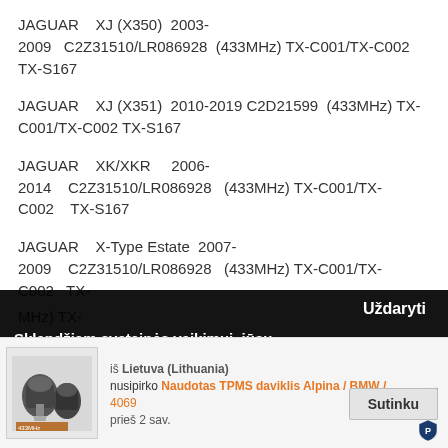JAGUAR    XJ (X350)  2003-2009   C2Z31510/LR086928  (433MHz) TX-C001/TX-C002  TX-S167
JAGUAR    XJ (X351)  2010-2019 C2D21599  (433MHz) TX-C001/TX-C002 TX-S167
JAGUAR    XK/XKR    2006-2014    C2Z31510/LR086928   (433MHz) TX-C001/TX-C002   TX-S167
JAGUAR    X-Type Estate  2007-2009   C2Z31510/LR086928  (433MHz) TX-C001/TX-C002  TX-
MHz) TX-
Uždaryti
Sklandžiam svetainės veikimui, jūsų naršymo patirties gerinimui bei rinkodarai naudojame slapukus
iš Lietuva (Lithuania) nusipirko Naudotas TPMS daviklis Alpina / BMW / ... prieš 2 sav.
Sutinku
JEEP    Commander   2006-2010 (